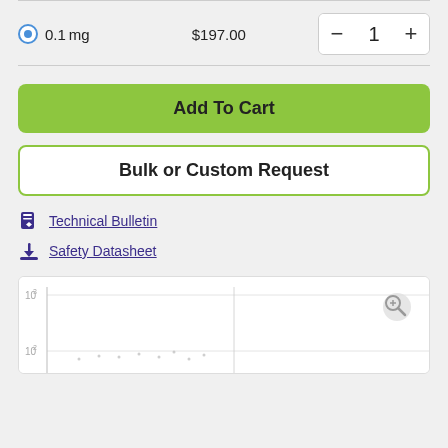0.1 mg   $197.00   quantity: 1
Add To Cart
Bulk or Custom Request
Technical Bulletin
Safety Datasheet
[Figure (scatter-plot): Partial scatter plot visible at bottom of page, showing data points on a log-log scale with y-axis showing 10^2 and 10^3 values]